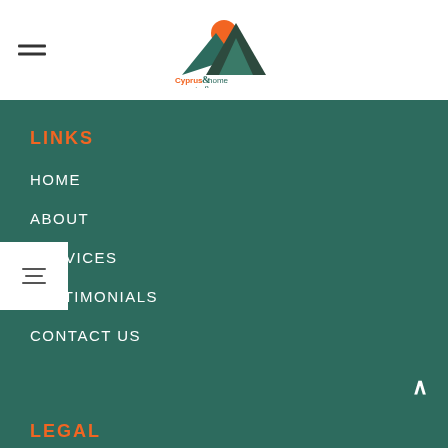[Figure (logo): Cyprus Property & Home logo with mountain and sun graphic and text]
LINKS
HOME
ABOUT
SERVICES
TESTIMONIALS
CONTACT US
LEGAL